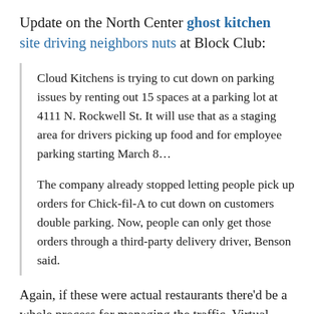Update on the North Center ghost kitchen site driving neighbors nuts at Block Club:
Cloud Kitchens is trying to cut down on parking issues by renting out 15 spaces at a parking lot at 4111 N. Rockwell St. It will use that as a staging area for drivers picking up food and for employee parking starting March 8…
The company already stopped letting people pick up orders for Chick-fil-A to cut down on customers double parking. Now, people can only get those orders through a third-party delivery driver, Benson said.
Again, if these were actual restaurants there'd be a whole process for managing the traffic. Virtual restaurants that draw the same traffic are here to stay